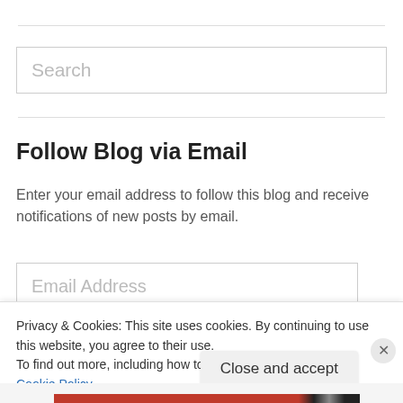Search
Follow Blog via Email
Enter your email address to follow this blog and receive notifications of new posts by email.
Email Address
Privacy & Cookies: This site uses cookies. By continuing to use this website, you agree to their use.
To find out more, including how to control cookies, see here: Cookie Policy
Close and accept